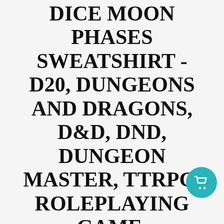DICE MOON PHASES SWEATSHIRT - D20, DUNGEONS AND DRAGONS, D&D, DND, DUNGEON MASTER, TTRPG, ROLEPLAYING GAME, TABLETOP GAME, NAT 20, NATURAL 1
[Figure (illustration): Teal circular shopping cart button icon in the bottom right corner]